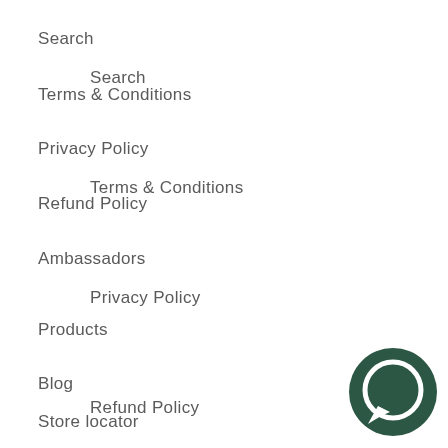Search
Terms & Conditions
Privacy Policy
Refund Policy
Ambassadors
Products
Blog
Store locator
About us
[Figure (illustration): Dark green circular chat bubble icon in the bottom right corner]